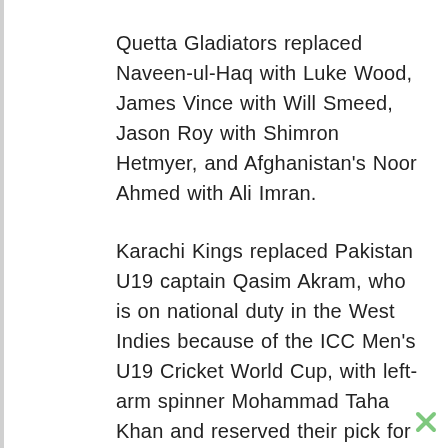Quetta Gladiators replaced Naveen-ul-Haq with Luke Wood, James Vince with Will Smeed, Jason Roy with Shimron Hetmyer, and Afghanistan's Noor Ahmed with Ali Imran.
Karachi Kings replaced Pakistan U19 captain Qasim Akram, who is on national duty in the West Indies because of the ICC Men's U19 Cricket World Cup, with left-arm spinner Mohammad Taha Khan and reserved their pick for Tom Abell.
Qasim's teammate Zeeshan Zamir was replaced with Mohammad Huraira, who had a terrific debut first-class season stroking a triple-century and finishing as the highest run-getter